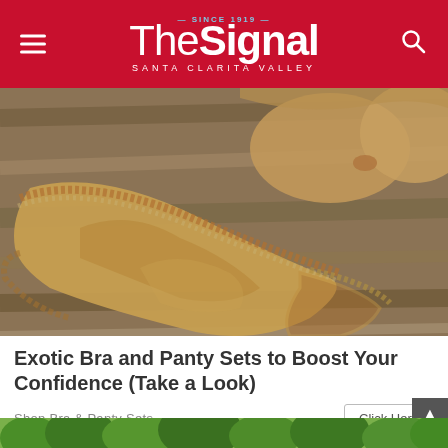The Signal — Santa Clarita Valley
[Figure (photo): Beige/tan lace bra and panty lingerie set laid out on a rustic wooden plank surface, viewed from above.]
Exotic Bra and Panty Sets to Boost Your Confidence (Take a Look)
Shop Bra & Panty Sets
Click Here
[Figure (photo): Partial view of green trees/forest at the bottom of the page.]